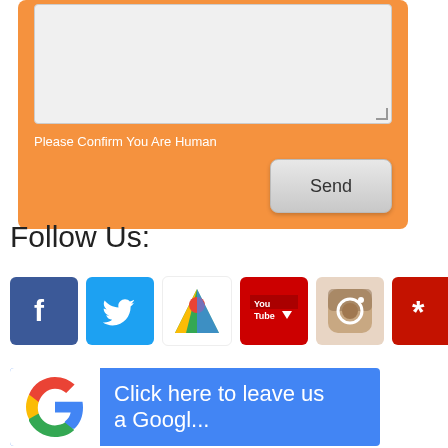[Figure (screenshot): Contact form with orange background, textarea input, 'Please Confirm You Are Human' label, and a Send button]
Follow Us:
[Figure (infographic): Row of social media icons: Facebook, Twitter, Google Maps, YouTube, Instagram, Yelp]
[Figure (infographic): Google review banner with Google G logo and text 'Click here to leave us a...']